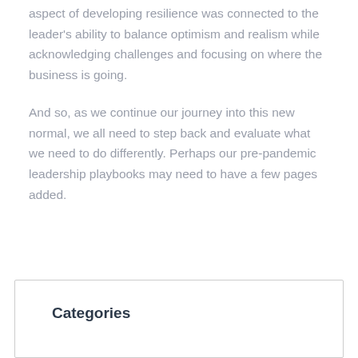aspect of developing resilience was connected to the leader's ability to balance optimism and realism while acknowledging challenges and focusing on where the business is going.
And so, as we continue our journey into this new normal, we all need to step back and evaluate what we need to do differently. Perhaps our pre-pandemic leadership playbooks may need to have a few pages added.
Categories